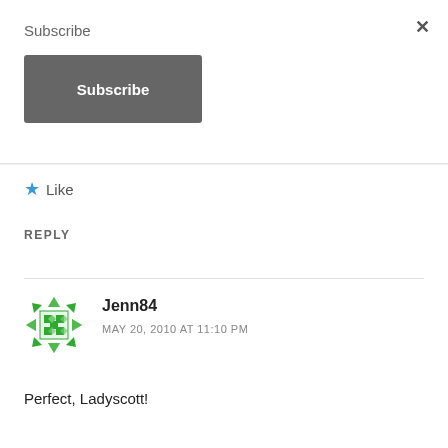Subscribe
×
Subscribe
★ Like
REPLY
Jenn84
MAY 20, 2010 AT 11:10 PM
Perfect, Ladyscott!